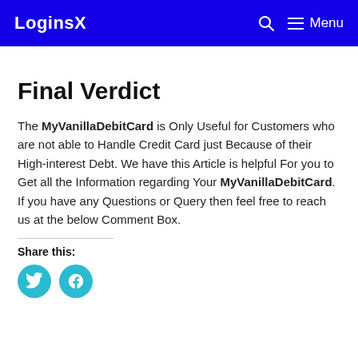LoginsX  Menu
Final Verdict
The MyVanillaDebitCard is Only Useful for Customers who are not able to Handle Credit Card just Because of their High-interest Debt. We have this Article is helpful For you to Get all the Information regarding Your MyVanillaDebitCard. If you have any Questions or Query then feel free to reach us at the below Comment Box.
Share this: